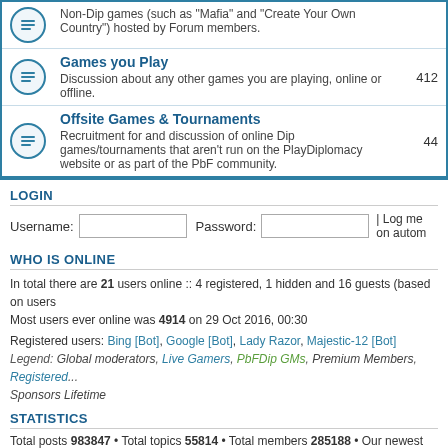|  | Forum | Posts |
| --- | --- | --- |
| [icon] | Non-Dip games (such as "Mafia" and "Create Your Own Country") hosted by Forum members. |  |
| [icon] | Games you Play
Discussion about any other games you are playing, online or offline. | 412 |
| [icon] | Offsite Games & Tournaments
Recruitment for and discussion of online Dip games/tournaments that aren't run on the PlayDiplomacy website or as part of the PbF community. | 44 |
LOGIN
Username: [input] Password: [input] | Log me on autom...
WHO IS ONLINE
In total there are 21 users online :: 4 registered, 1 hidden and 16 guests (based on users...
Most users ever online was 4914 on 29 Oct 2016, 00:30
Registered users: Bing [Bot], Google [Bot], Lady Razor, Majestic-12 [Bot]
Legend: Global moderators, Live Gamers, PbFDip GMs, Premium Members, Registered..., Sponsors Lifetime
STATISTICS
Total posts 983847 • Total topics 55814 • Total members 285188 • Our newest member ...
Board index    The team • Delete all board ...
Powered by phpBB® Forum Software © phpBB Gr...